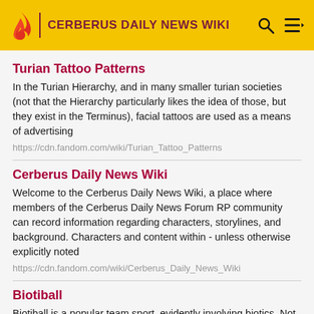CERBERUS DAILY NEWS WIKI
Turian Tattoo Patterns
In the Turian Hierarchy, and in many smaller turian societies (not that the Hierarchy particularly likes the idea of those, but they exist in the Terminus), facial tattoos are used as a means of advertising
https://cdn.fandom.com/wiki/Turian_Tattoo_Patterns
Cerberus Daily News Wiki
Welcome to the Cerberus Daily News Wiki, a place where members of the Cerberus Daily News Forum RP community can record information regarding characters, storylines, and background. Characters and content within - unless otherwise explicitly noted
https://cdn.fandom.com/wiki/Cerberus_Daily_News_Wiki
Biotiball
Biotiball is a popular team sport, evidently involving biotics. Not